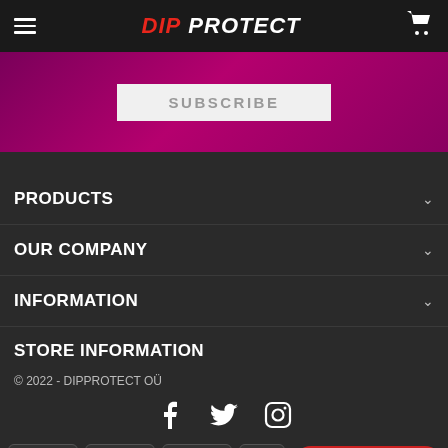DIP PROTECT
[Figure (screenshot): Subscribe button on magenta/purple banner background]
PRODUCTS
OUR COMPANY
INFORMATION
STORE INFORMATION
© 2022 - DIPPROTECT OÜ
[Figure (infographic): Social media icons: Facebook, Twitter, Instagram]
[Figure (infographic): Payment method badges: Bank Transfer, Maestro, Mastercard, PayPal. Send a message button.]